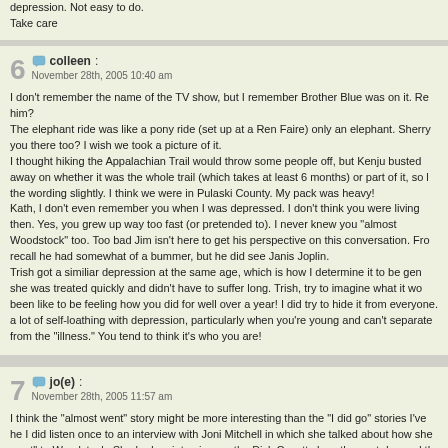depression. Not easy to do.
Take care
colleen:
November 28th, 2005 10:40 am
I don't remember the name of the TV show, but I remember Brother Blue was on it. Re him?
The elephant ride was like a pony ride (set up at a Ren Faire) only an elephant. Sherry you there too? I wish we took a picture of it.
I thought hiking the Appalachian Trail would throw some people off, but Kenju busted away on whether it was the whole trail (which takes at least 6 months) or part of it, so l the wording slightly. I think we were in Pulaski County. My pack was heavy!
Kath, I don't even remember you when I was depressed. I don't think you were living then. Yes, you grew up way too fast (or pretended to). I never knew you "almost Woodstock" too. Too bad Jim isn't here to get his perspective on this conversation. Fro recall he had somewhat of a bummer, but he did see Janis Joplin.
Trish got a similiar depression at the same age, which is how I determine it to be gen she was treated quickly and didn't have to suffer long. Trish, try to imagine what it wo been like to be feeling how you did for well over a year! I did try to hide it from everyone. a lot of self-loathing with depression, particularly when you're young and can't separate from the "illness." You tend to think it's who you are!
jo(e):
November 28th, 2005 11:57 am
I think the "almost went" story might be more interesting than the "I did go" stories I've he I did listen once to an interview with Joni Mitchell in which she talked about how she went" to Woodstock. She had an interview on the Dick Cavett show the next day and th worry that if she went, she wouldn't make it back in time.